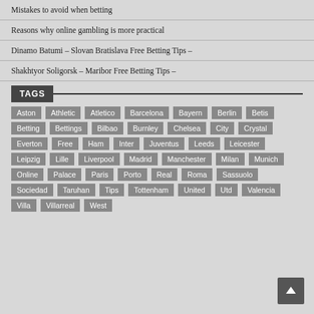Mistakes to avoid when betting
Reasons why online gambling is more practical
Dinamo Batumi – Slovan Bratislava Free Betting Tips –
Shakhtyor Soligorsk – Maribor Free Betting Tips –
TAGS
Aston Athletic Atletico Barcelona Bayern Berlin Betis Betting Bettings Bilbao Burnley Chelsea City Crystal Everton Free Ham Inter Juventus Leeds Leicester Leipzig Lille Liverpool Madrid Manchester Milan Munich Online Palace Paris Porto Real Roma Sassuolo Sociedad Taruhan Tips Tottenham United Utd Valencia Villa Villarreal West